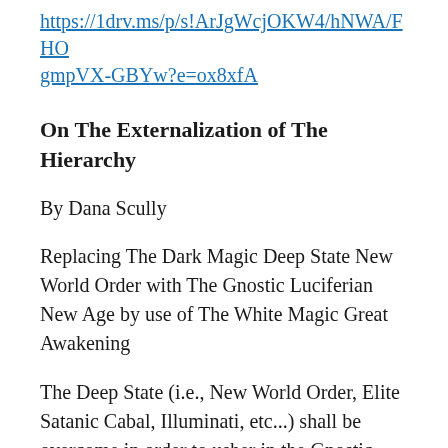https://1drv.ms/p/s!ArJgWcjOKW4/hNWA/FHOgmpVX-GBYw?e=ox8xfA
On The Externalization of The Hierarchy
By Dana Scully
Replacing The Dark Magic Deep State New World Order with The Gnostic Luciferian New Age by use of The White Magic Great Awakening
The Deep State (i.e., New World Order, Elite Satanic Cabal, Illuminati, etc...) shall be overcome in order to usher in the Gnostic Luciferin New Age of horrific mind control and slavery through Luciferian Transhumanism